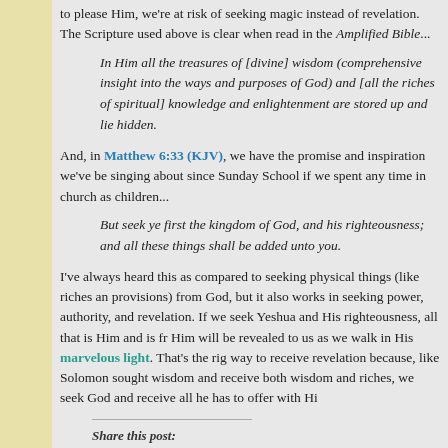to please Him, we're at risk of seeking magic instead of revelation. The Scripture used above is clear when read in the Amplified Bible...
In Him all the treasures of [divine] wisdom (comprehensive insight into the ways and purposes of God) and [all the riches of spiritual] knowledge and enlightenment are stored up and lie hidden.
And, in Matthew 6:33 (KJV), we have the promise and inspiration we've be singing about since Sunday School if we spent any time in church as children...
But seek ye first the kingdom of God, and his righteousness; and all these things shall be added unto you.
I've always heard this as compared to seeking physical things (like riches and provisions) from God, but it also works in seeking power, authority, and revelation. If we seek Yeshua and His righteousness, all that is Him and is fr Him will be revealed to us as we walk in His marvelous light. That's the rig way to receive revelation because, like Solomon sought wisdom and receive both wisdom and riches, we seek God and receive all he has to offer with Hi
Share this post:
Twitter | Facebook | Pinterest | Email | More